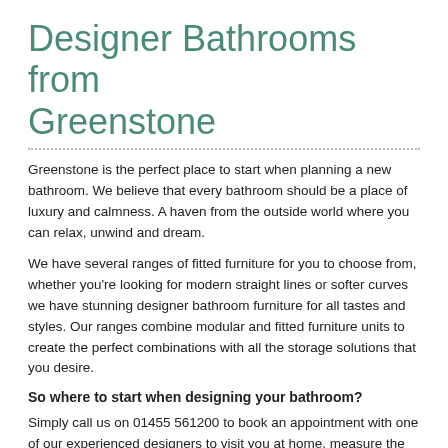Designer Bathrooms from Greenstone
Greenstone is the perfect place to start when planning a new bathroom. We believe that every bathroom should be a place of luxury and calmness. A haven from the outside world where you can relax, unwind and dream.
We have several ranges of fitted furniture for you to choose from, whether you’re looking for modern straight lines or softer curves we have stunning designer bathroom furniture for all tastes and styles. Our ranges combine modular and fitted furniture units to create the perfect combinations with all the storage solutions that you desire.
So where to start when designing your bathroom?
Simply call us on 01455 561200 to book an appointment with one of our experienced designers to visit you at home, measure the